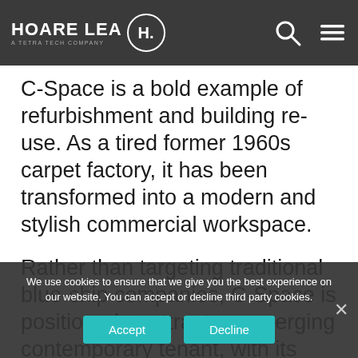HOARE LEA · A TETRA TECH COMPANY
C-Space is a bold example of refurbishment and building re-use. As a tired former 1960s carpet factory, it has been transformed into a modern and stylish commercial workspace.
Rather than targeting traditional blue-chip companies, C-Space is positioned to attract an emerging contemporary tenant, with its unique offering in the heart of London's creative and technology quarter.
It has provided us with some of our most sustainable and creative thinking.
We use cookies to ensure that we give you the best experience on our website. You can accept or decline third party cookies.